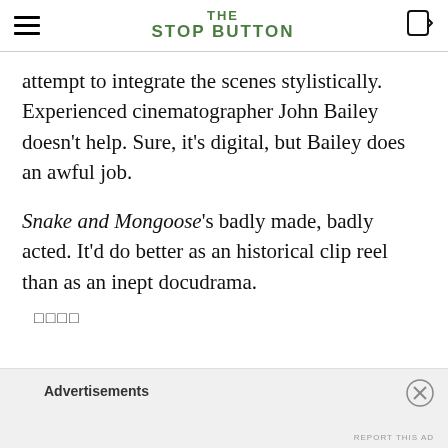THE STOP BUTTON
attempt to integrate the scenes stylistically. Experienced cinematographer John Bailey doesn't help. Sure, it's digital, but Bailey does an awful job.
Snake and Mongoose's badly made, badly acted. It'd do better as an historical clip reel than as an inept docudrama.
□□□□
Advertisements